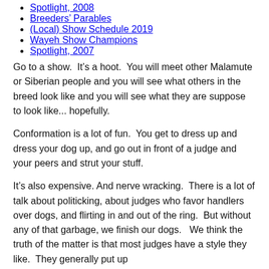Spotlight, 2008
Breeders’ Parables
(Local) Show Schedule 2019
Wayeh Show Champions
Spotlight, 2007
Go to a show.  It’s a hoot.  You will meet other Malamute or Siberian people and you will see what others in the breed look like and you will see what they are suppose to look like... hopefully.
Conformation is a lot of fun.  You get to dress up and dress your dog up, and go out in front of a judge and your peers and strut your stuff.
It’s also expensive. And nerve wracking.  There is a lot of talk about politicking, about judges who favor handlers over dogs, and flirting in and out of the ring.  But without any of that garbage, we finish our dogs.   We think the truth of the matter is that most judges have a style they like.  They generally put up